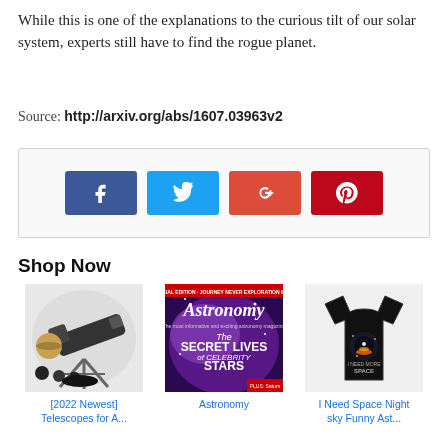While this is one of the explanations to the curious tilt of our solar system, experts still have to find the rogue planet.
Source: http://arxiv.org/abs/1607.03963v2
[Figure (infographic): Social sharing buttons: Facebook (blue), Twitter (cyan), Google+ (orange-red), Pinterest (red)]
Shop Now
[Figure (photo): Telescope kit product photo - [2022 Newest] Telescopes for A...]
[Figure (photo): Astronomy magazine cover - The Secret Lives of Celebrity Stars]
[Figure (photo): Black t-shirt with space graphic - I Need Space Night sky Funny Ast...]